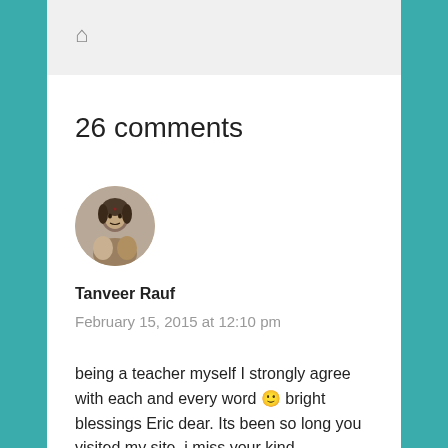🏠
26 comments
[Figure (photo): Circular avatar photo of a woman in traditional dress, sepia/grayscale toned]
Tanveer Rauf
February 15, 2015 at 12:10 pm
being a teacher myself I strongly agree with each and every word 🙂 bright blessings Eric dear. Its been so long you visited my site, i miss your kind suggestions. God bless you, amen